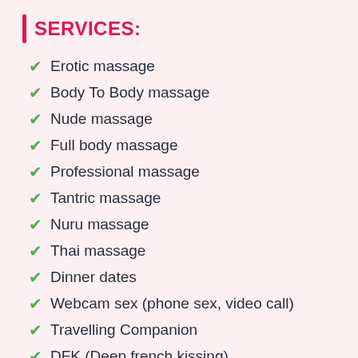SERVICES:
Erotic massage
Body To Body massage
Nude massage
Full body massage
Professional massage
Tantric massage
Nuru massage
Thai massage
Dinner dates
Webcam sex (phone sex, video call)
Travelling Companion
DFK (Deep french kissing)
Hand job
Blow job (bi)